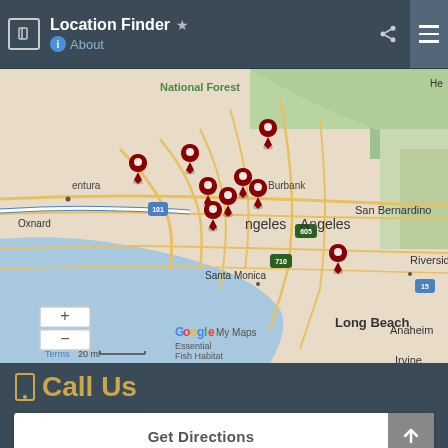Location Finder  About
[Figure (map): Google My Maps showing the Los Angeles area with multiple dark red location pin markers clustered around central LA, plus one near Anaheim/Long Beach area. Map shows cities including Ventura, Oxnard, Burbank, Los Angeles, Santa Monica, Long Beach, Anaheim, Irvine, San Bernardino, Riverside. Highway labels 101, 605, 710, 15 visible. Map includes zoom controls (+/-), 'Terms', '20 mi' scale bar, and 'Google My Maps Essential Fish Habitat' branding.]
Call Us
Get Directions